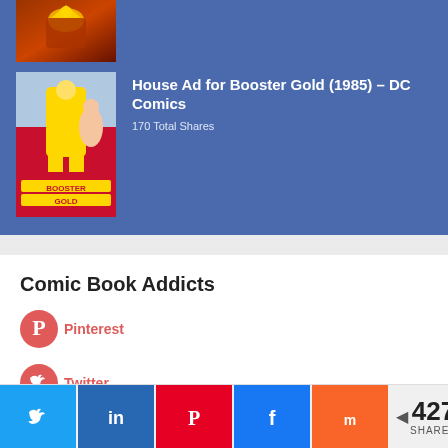[Figure (photo): Top portion of a comic book or similar image with red/dark background, partially visible at top]
[Figure (photo): Booster Gold (1985) comic book cover thumbnail showing superhero in yellow suit]
House Ad for Booster Gold (1985) – DC Comics
170 Total Shares
Comic Book Addicts
Pinterest
Twitter
427 SHARES